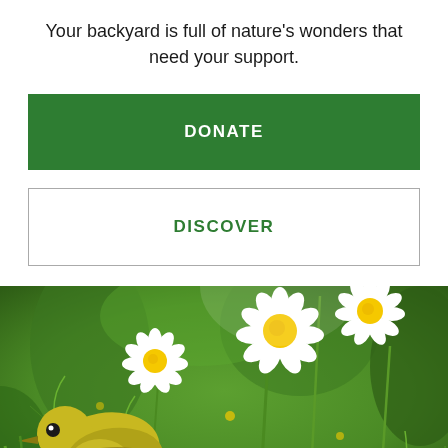Your backyard is full of nature's wonders that need your support.
DONATE
DISCOVER
[Figure (photo): A small yellow bird among white daisy flowers with yellow centers, surrounded by green stems and foliage]